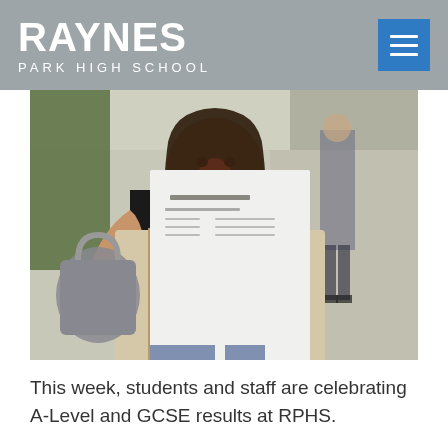RAYNES PARK HIGH SCHOOL
[Figure (photo): A young woman with long hair, mouth open in excitement/surprise, holding up what appears to be exam results papers and a folder/envelope. She is outdoors, wearing a black sleeveless top and jeans. A handbag is visible on her left arm. Other people are visible in the background on a path.]
This week, students and staff are celebrating A-Level and GCSE results at RPHS.